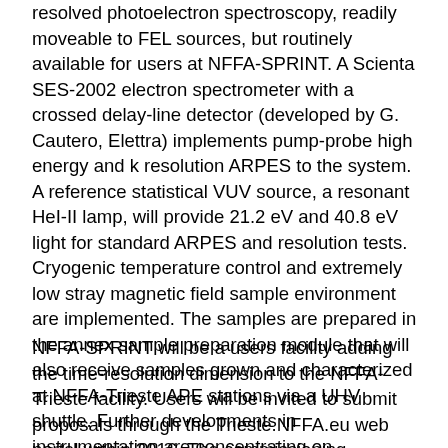resolved photoelectron spectroscopy, readily moveable to FEL sources, but routinely available for users at NFFA-SPRINT. A Scienta SES-2002 electron spectrometer with a crossed delay-line detector (developed by G. Cautero, Elettra) implements pump-probe high energy and k resolution ARPES to the system. A reference statistical VUV source, a resonant HeI-II lamp, will provide 21.2 eV and 40.8 eV light for standard ARPES and resolution tests. Cryogenic temperature control and extremely low stray magnetic field sample environment are implemented. The samples are prepared in the annex sample preparation module that will also receive samples grown and characterized at NFFA-Trieste APE stations via a UHV shuttle. Further developments in instrumentation are concentrating on independently moveable XUV photodiodes and quantum yield meters.
NFFA-SPRINT will be a users facility adding the time-resolution dimension to the NFFA-Trieste facility. Users will be invited to submit proposals through the Trieste.NFFA.eu web portal within 2016. The commissioning planning of